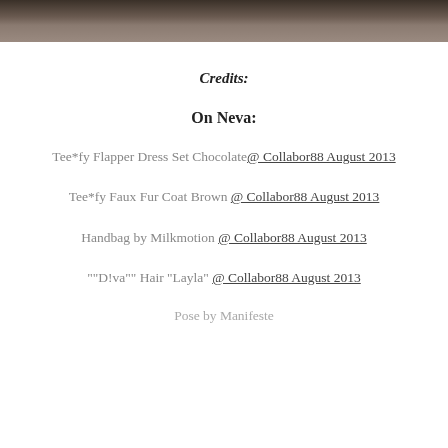[Figure (photo): Top portion of a photo showing figures in dark and light clothing outdoors]
Credits:
On Neva:
Tee*fy Flapper Dress Set Chocolate@ Collabor88 August 2013
Tee*fy Faux Fur Coat Brown @ Collabor88 August 2013
Handbag by Milkmotion @ Collabor88 August 2013
""D!va"" Hair "Layla" @ Collabor88 August 2013
Pose by Manifeste